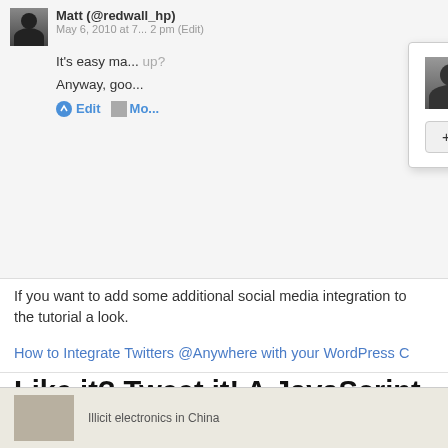[Figure (screenshot): Screenshot of a tweet by Matt (@redwall_hp) with a hover card popup showing Matt Harzewski @redwall_hp, Northeast USA, and a Follow button]
It's easy ma... up?
Anyway, goo...
Edit  Mo...
If you want to add some additional social media integration to the tutorial a look.
How to Integrate Twitters @Anywhere with your WordPress C
Like it? Tweet it! A JavaScript TweetMeme Alte
May 10, 2010 by Matt | Posted in Software & Scripts
"Like it? Tweet it!" is a new JavaScript widget by Andy Graulu @Anywhere, provides an easy way to display a box for peopl It automatically loads a shortened URL and let's you write a m
[Figure (screenshot): Bottom strip with thumbnail image and caption 'Illicit electronics in China']